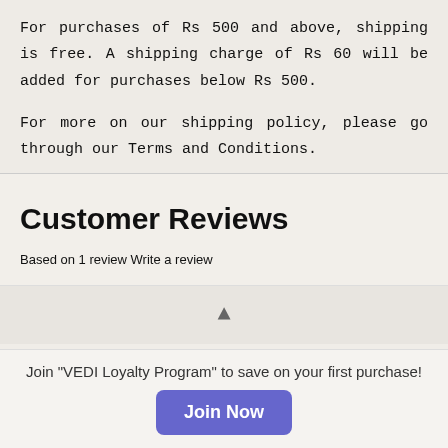For purchases of Rs 500 and above, shipping is free. A shipping charge of Rs 60 will be added for purchases below Rs 500.
For more on our shipping policy, please go through our Terms and Conditions.
Customer Reviews
Based on 1 review Write a review
Join "VEDI Loyalty Program" to save on your first purchase!